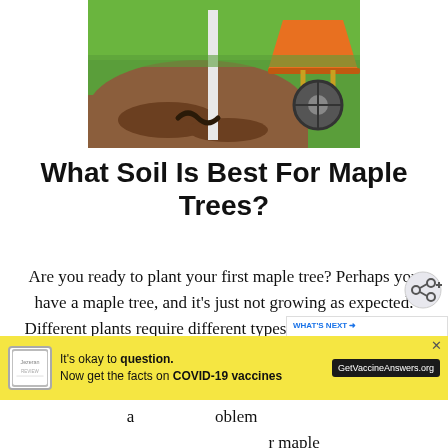[Figure (photo): A person digging soil in a yard with a white post/stake planted in the ground and an orange wheelbarrow with yellow handles on the grass in the background.]
What Soil Is Best For Maple Trees?
Are you ready to plant your first maple tree? Perhaps you have a maple tree, and it's just not growing as expected. Different plants require different types of soil and growing
[Figure (infographic): WHAT'S NEXT widget showing thumbnail image and text '11 Beautiful Succulents...']
[Figure (infographic): Ad banner: It's okay to question. Now get the facts on COVID-19 vaccines. GetVaccineAnswers.org]
...oblem ... r maple